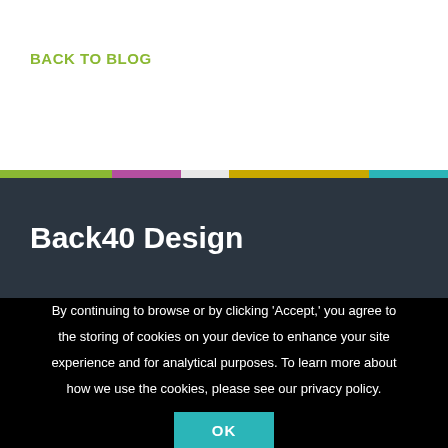BACK TO BLOG
Back40 Design
By continuing to browse or by clicking 'Accept,' you agree to the storing of cookies on your device to enhance your site experience and for analytical purposes. To learn more about how we use the cookies, please see our privacy policy.
OK